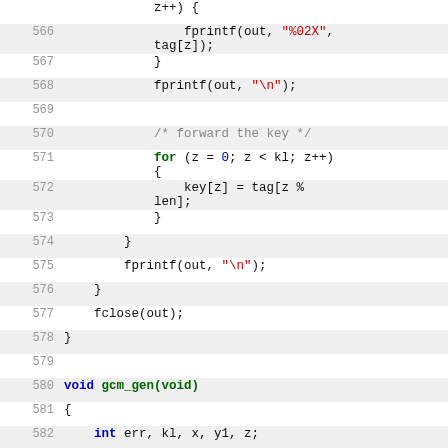Source code listing, lines 566-587, C code for cryptographic test vector generation
[Figure (screenshot): C source code listing showing lines 566-587 with syntax highlighting. Functions include fprintf calls, a for loop forwarding the key, fclose, and the start of gcm_gen(void) function with variable declarations.]